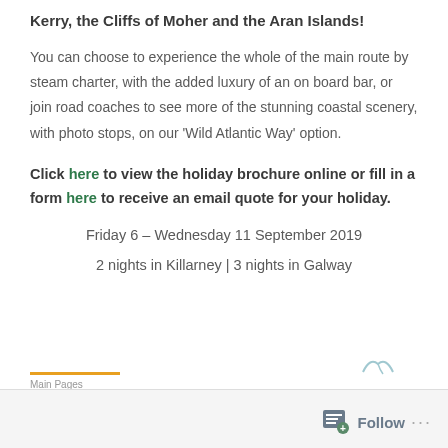Kerry, the Cliffs of Moher and the Aran Islands!
You can choose to experience the whole of the main route by steam charter, with the added luxury of an on board bar, or join road coaches to see more of the stunning coastal scenery, with photo stops, on our ‘Wild Atlantic Way’ option.
Click here to view the holiday brochure online or fill in a form here to receive an email quote for your holiday.
Friday 6 – Wednesday 11 September 2019
2 nights in Killarney | 3 nights in Galway
Main Pages  Follow ...